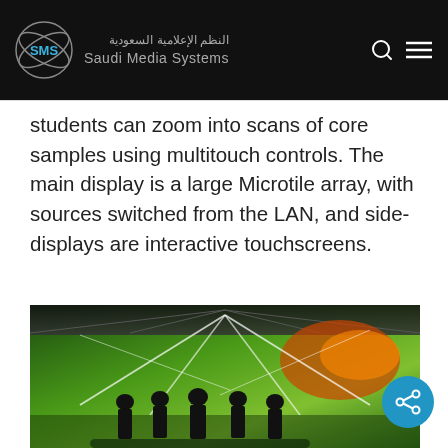النظم الإعلامية السعودية | Saudi Media Systems
students can zoom into scans of core samples using multitouch controls. The main display is a large Microtile array, with sources switched from the LAN, and side-displays are interactive touchscreens.
[Figure (photo): Silhouettes of five people standing in front of a large curved immersive display showing green and red geological or scientific visualization with bright white light beams]